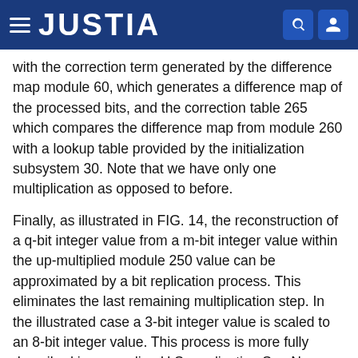JUSTIA
with the correction term generated by the difference map module 60, which generates a difference map of the processed bits, and the correction table 265 which compares the difference map from module 260 with a lookup table provided by the initialization subsystem 30. Note that we have only one multiplication as opposed to before.
Finally, as illustrated in FIG. 14, the reconstruction of a q-bit integer value from a m-bit integer value within the up-multiplied module 250 value can be approximated by a bit replication process. This eliminates the last remaining multiplication step. In the illustrated case a 3-bit integer value is scaled to an 8-bit integer value. This process is more fully described in copending U.S. application Ser. No. 09/015,935, which is incorporated herein by reference.